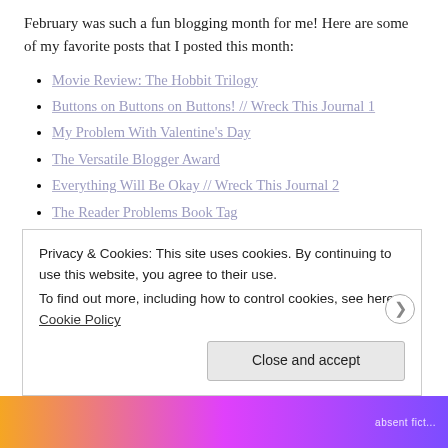February was such a fun blogging month for me! Here are some of my favorite posts that I posted this month:
Movie Review: The Hobbit Trilogy
Buttons on Buttons on Buttons! // Wreck This Journal 1
My Problem With Valentine's Day
The Versatile Blogger Award
Everything Will Be Okay // Wreck This Journal 2
The Reader Problems Book Tag
February Favorites
Lately I've been contemplating the idea of going self-hosted
Privacy & Cookies: This site uses cookies. By continuing to use this website, you agree to their use. To find out more, including how to control cookies, see here: Cookie Policy
Close and accept